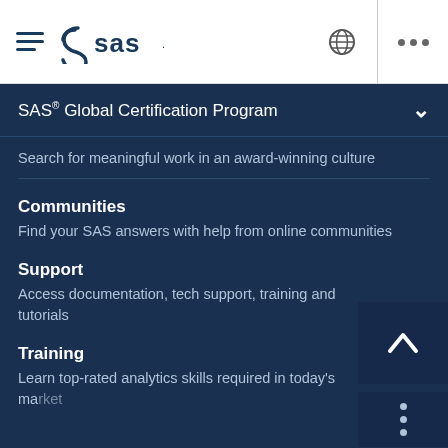[Figure (logo): SAS logo with hamburger menu icon on left side of top navigation bar]
SAS® Global Certification Program
Search for meaningful work in an award-winning culture
Communities
Find your SAS answers with help from online communities
Support
Access documentation, tech support, training and tutorials
Training
Learn top-rated analytics skills required in today's market
Home • Certification • SAS Programming Flash Cards